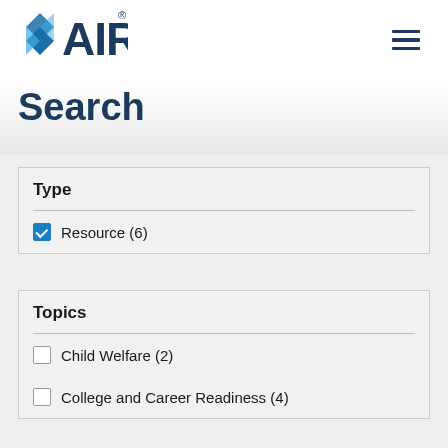[Figure (logo): AIR (American Institutes for Research) logo with diamond/arrow mark in blue and text 'AIR' in dark navy, with hamburger menu icon on right]
Search
Type
Resource (6)
Topics
Child Welfare (2)
College and Career Readiness (4)